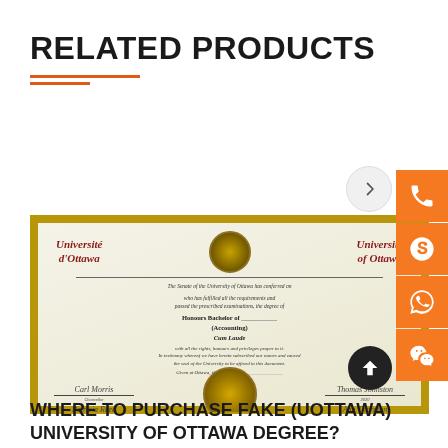RELATED PRODUCTS
[Figure (photo): University of Ottawa diploma certificate showing Université d'Ottawa / University of Ottawa heading with crest, degree text for Honours Bachelor with signatures and university seal]
WHERE TO PURCHASE FAKE (UOTTAWA) UNIVERSITY OF OTTAWA DEGREE?